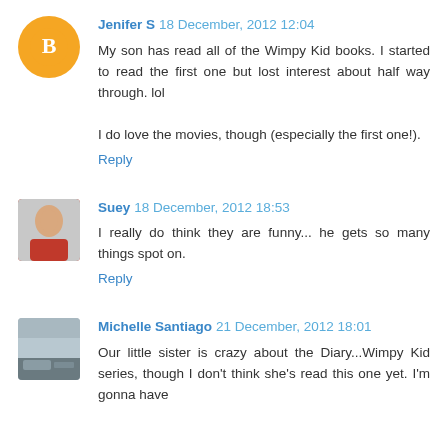Jenifer S 18 December, 2012 12:04
My son has read all of the Wimpy Kid books. I started to read the first one but lost interest about half way through. lol

I do love the movies, though (especially the first one!).
Reply
Suey 18 December, 2012 18:53
I really do think they are funny... he gets so many things spot on.
Reply
Michelle Santiago 21 December, 2012 18:01
Our little sister is crazy about the Diary...Wimpy Kid series, though I don't think she's read this one yet. I'm gonna have